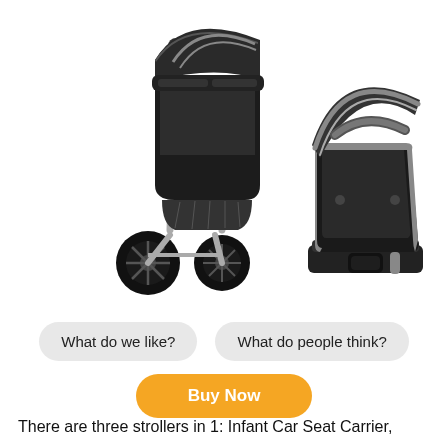[Figure (photo): Product photo of a Graco travel system: a black and gray stroller on the left and a black infant car seat carrier with base on the right, both against a white background.]
What do we like?
What do people think?
Buy Now
There are three strollers in 1: Infant Car Seat Carrier,